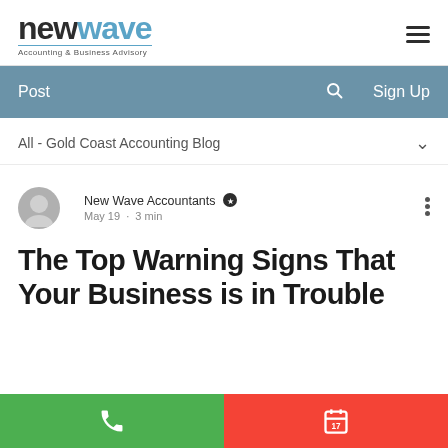[Figure (logo): New Wave Accounting & Business Advisory logo with dark and blue text]
Post   🔍   Sign Up
All - Gold Coast Accounting Blog
New Wave Accountants ★  May 19 · 3 min
The Top Warning Signs That Your Business is in Trouble